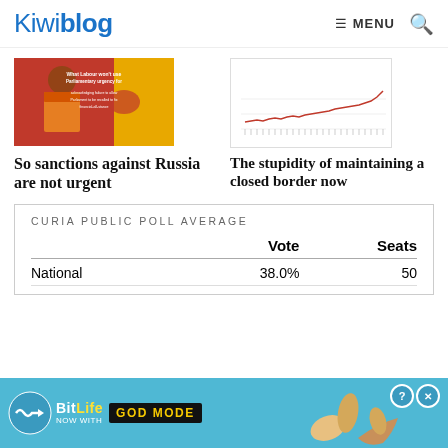Kiwiblog  ☰ MENU  🔍
[Figure (photo): Drake meme image with red background, text about Parliamentary urgency for Labour]
So sanctions against Russia are not urgent
[Figure (line-chart): Line chart showing upward trend over time]
The stupidity of maintaining a closed border now
CURIA PUBLIC POLL AVERAGE
|  | Vote | Seats |
| --- | --- | --- |
| National | 38.0% | 50 |
[Figure (infographic): BitLife advertisement banner: NOW WITH GOD MODE]